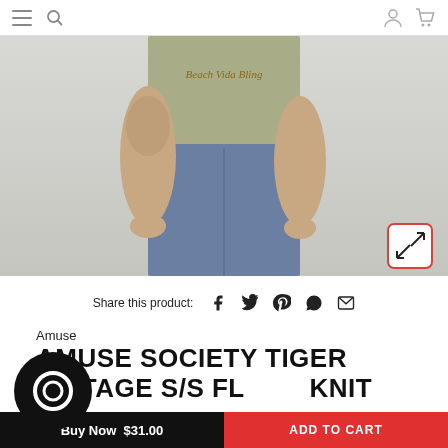navigation header with menu, search, account, cart icons
[Figure (photo): Woman wearing a light olive green cropped t-shirt with 'Beach Vida Bling' graphic and visible tattoos, paired with blue jeans. White background. Expand icon in bottom-right corner.]
Share this product: (social media icons for Facebook, Twitter, Pinterest, WhatsApp, Email)
Amuse
AMUSE SOCIETY TIGER VINTAGE S/S FLEECE KNIT TEE
Buy Now [price] | ADD TO CART